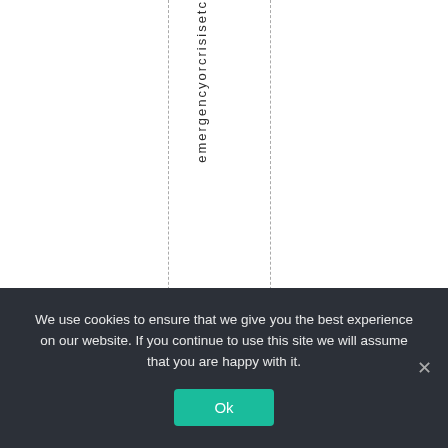[Figure (other): A table or spreadsheet fragment showing vertically oriented text 'emergencyorcrisisetc' in the center column, with dashed vertical lines separating columns. The content area shows part of a scrollable/clipped table.]
We use cookies to ensure that we give you the best experience on our website. If you continue to use this site we will assume that you are happy with it. Ok